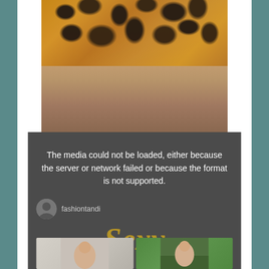[Figure (photo): Photo of a person wearing a leopard print dress, showing the lower half of the body and legs against a light wooden floor and white door background]
[Figure (screenshot): Video player error overlay with dark semi-transparent background showing error message and video thumbnail strip with avatar, username fashiontandi, gold italic text, and two thumbnail images below]
The media could not be loaded, either because the server or network failed or because the format is not supported.